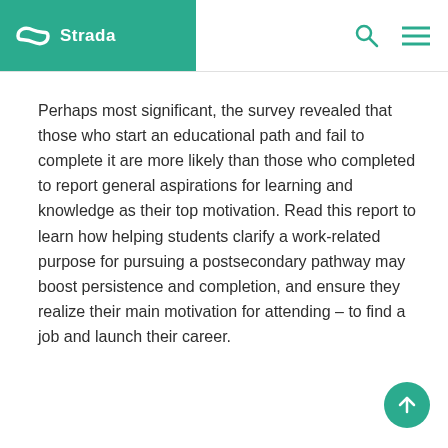Strada | CENTER FOR EDUCATION CONSUMER INSIGHTS
Perhaps most significant, the survey revealed that those who start an educational path and fail to complete it are more likely than those who completed to report general aspirations for learning and knowledge as their top motivation. Read this report to learn how helping students clarify a work-related purpose for pursuing a postsecondary pathway may boost persistence and completion, and ensure they realize their main motivation for attending – to find a job and launch their career.